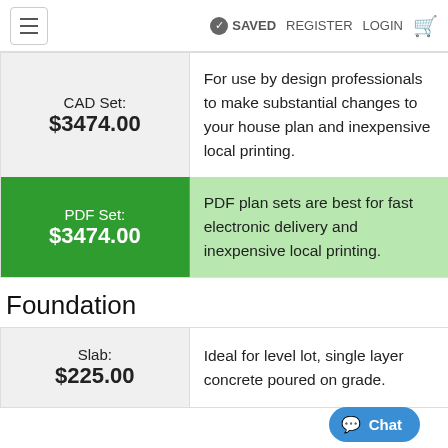≡  SAVED  REGISTER  LOGIN  🛒
| Product | Description |
| --- | --- |
| CAD Set: $3474.00 | For use by design professionals to make substantial changes to your house plan and inexpensive local printing. |
| PDF Set: $3474.00 | PDF plan sets are best for fast electronic delivery and inexpensive local printing. |
Foundation
| Product | Description |
| --- | --- |
| Slab: $225.00 | Ideal for level lot, single layer concrete poured on grade. |